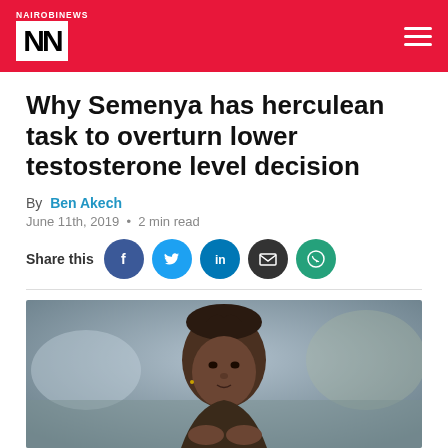NAIROBI NEWS
Why Semenya has herculean task to overturn lower testosterone level decision
By Ben Akech
June 11th, 2019 · 2 min read
Share this
[Figure (photo): Portrait photo of Caster Semenya, close-up face and upper body, blurred stadium background]